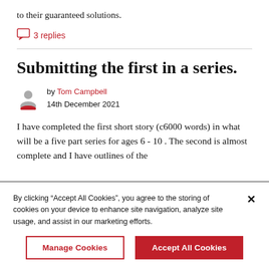to their guaranteed solutions.
3 replies
Submitting the first in a series.
by Tom Campbell
14th December 2021
I have completed the first short story (c6000 words) in what will be a five part series for ages 6 - 10 . The second is almost complete and I have outlines of the
By clicking “Accept All Cookies”, you agree to the storing of cookies on your device to enhance site navigation, analyze site usage, and assist in our marketing efforts.
Manage Cookies
Accept All Cookies